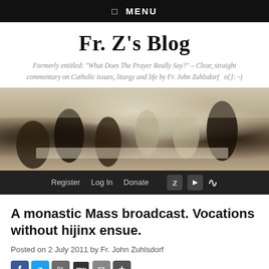☰ MENU
Fr. Z's Blog
Formerly entitled: "What Does The Prayer Really Say?" – Clear, straight commentary on Catholic issues, liturgy and life by Fr. John Zuhlsdorf   o{]:¬)
[Figure (photo): Painting of figures seated and standing around a dining table, dressed in dark period clothing, in a classical style.]
Register   Log In   Donate
A monastic Mass broadcast. Vocations without hijinx ensue.
Posted on 2 July 2011 by Fr. John Zuhlsdorf
[Figure (other): Social sharing buttons: Facebook, Twitter, share link, MW, email, plus]